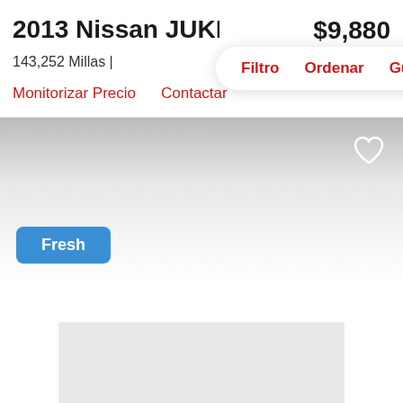2013 Nissan JUKE S
$9,880
143,252 Millas | est. $142/mes
Filtro   Ordenar   Guardar
Monitorizar Precio   Contactar
[Figure (screenshot): Car listing image area with gradient gray background and white heart icon in top-right corner]
Fresh
[Figure (other): Gray placeholder rectangle at bottom]